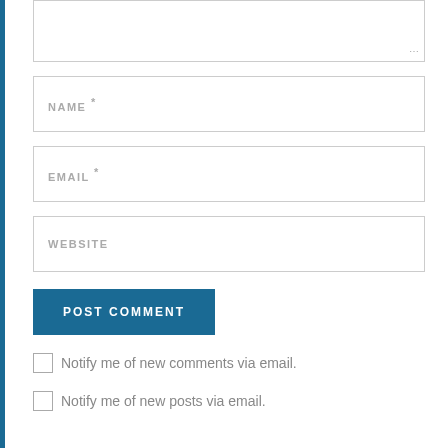[Figure (screenshot): Partial textarea input field (comment box) with resize handle at bottom right]
NAME *
EMAIL *
WEBSITE
POST COMMENT
Notify me of new comments via email.
Notify me of new posts via email.